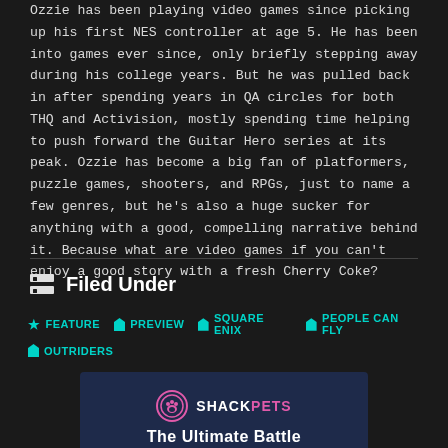Ozzie has been playing video games since picking up his first NES controller at age 5. He has been into games ever since, only briefly stepping away during his college years. But he was pulled back in after spending years in QA circles for both THQ and Activision, mostly spending time helping to push forward the Guitar Hero series at its peak. Ozzie has become a big fan of platformers, puzzle games, shooters, and RPGs, just to name a few genres, but he's also a huge sucker for anything with a good, compelling narrative behind it. Because what are video games if you can't enjoy a good story with a fresh Cherry Coke?
Filed Under
FEATURE
PREVIEW
SQUARE ENIX
PEOPLE CAN FLY
OUTRIDERS
[Figure (logo): ShackPets logo with paw print icon, showing SHACK in white and PETS in pink. Below it says The Ultimate Battle.]